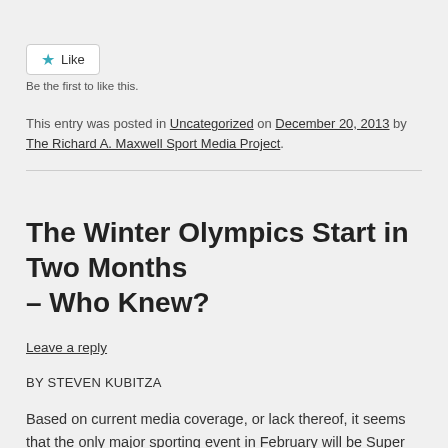[Figure (other): Like button widget with star icon]
Be the first to like this.
This entry was posted in Uncategorized on December 20, 2013 by The Richard A. Maxwell Sport Media Project.
The Winter Olympics Start in Two Months – Who Knew?
Leave a reply
BY STEVEN KUBITZA
Based on current media coverage, or lack thereof, it seems that the only major sporting event in February will be Super